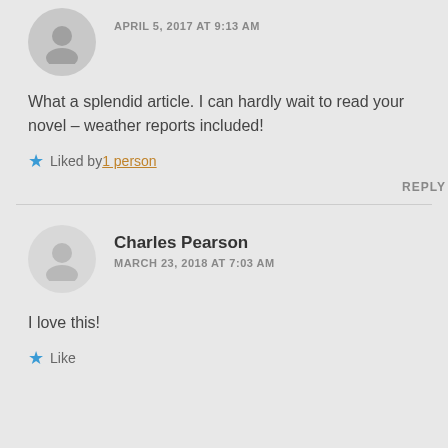APRIL 5, 2017 AT 9:13 AM
What a splendid article. I can hardly wait to read your novel – weather reports included!
Liked by 1 person
REPLY
Charles Pearson
MARCH 23, 2018 AT 7:03 AM
I love this!
Like